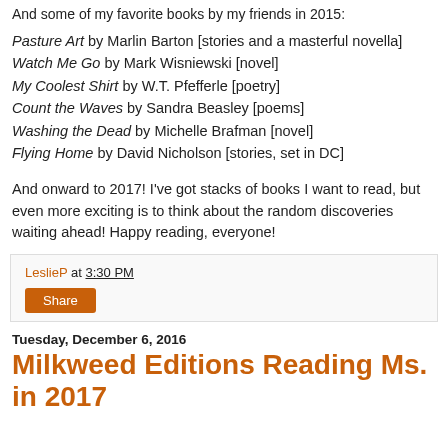And some of my favorite books by my friends in 2015:
Pasture Art by Marlin Barton [stories and a masterful novella]
Watch Me Go by Mark Wisniewski [novel]
My Coolest Shirt by W.T. Pfefferle [poetry]
Count the Waves by Sandra Beasley [poems]
Washing the Dead by Michelle Brafman [novel]
Flying Home by David Nicholson [stories, set in DC]
And onward to 2017! I've got stacks of books I want to read, but even more exciting is to think about the random discoveries waiting ahead! Happy reading, everyone!
LeslieP at 3:30 PM
Share
Tuesday, December 6, 2016
Milkweed Editions Reading Ms. in 2017